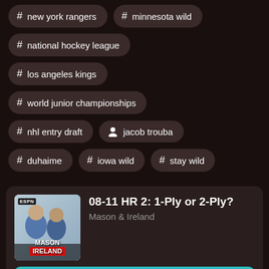# new york rangers
# minnesota wild
# national hockey league
# los angeles kings
# world junior championships
# nhl entry draft
person jacob trouba
# duhaime
# iowa wild
# stay wild
08-11 HR 2: 1-Ply or 2-Ply?
Mason & Ireland
Play Episode